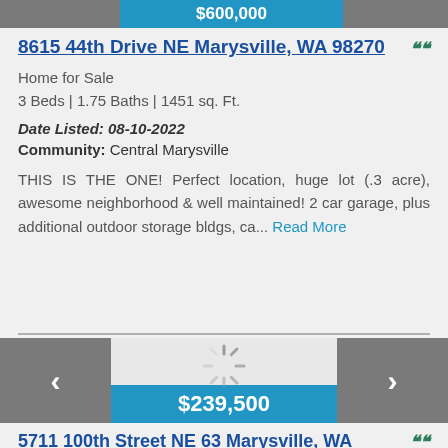[Figure (screenshot): Top navigation buttons and partial price bar from previous listing]
8615 44th Drive NE Marysville, WA 98270
Home for Sale
3 Beds | 1.75 Baths | 1451 sq. Ft.
Date Listed: 08-10-2022
Community: Central Marysville
THIS IS THE ONE! Perfect location, huge lot (.3 acre), awesome neighborhood & well maintained! 2 car garage, plus additional outdoor storage bldgs, ca... Read More
[Figure (photo): Property image carousel with left/right navigation arrows and a loading spinner, price badge showing $239,500]
5711 100th Street NE 63 Marysville, WA